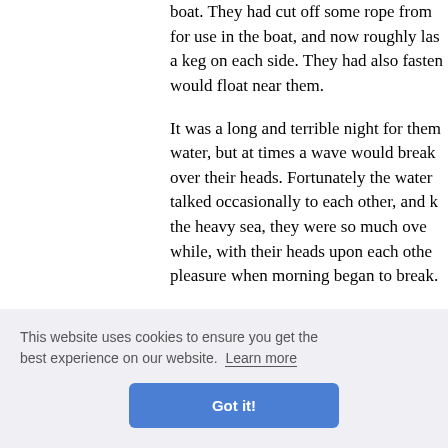boat. They had cut off some rope from for use in the boat, and now roughly las a keg on each side. They had also fasten would float near them.
It was a long and terrible night for them water, but at times a wave would break over their heads. Fortunately the water talked occasionally to each other, and k the heavy sea, they were so much ove while, with their heads upon each othe pleasure when morning began to break.
"It is going to be a splendid day, Peter, a
e are som egs, one e y which t the boat.
This website uses cookies to ensure you get the best experience on our website. Learn more